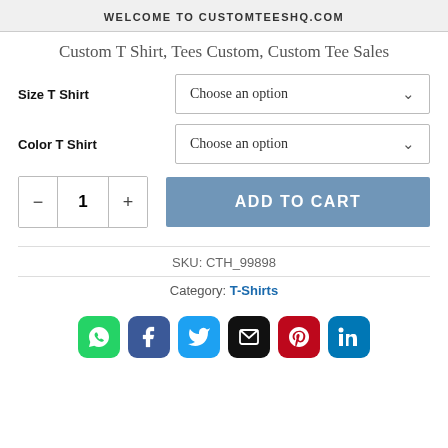WELCOME TO CUSTOMTEESHQ.COM
Custom T Shirt, Tees Custom, Custom Tee Sales
Size T Shirt — Choose an option (dropdown)
Color T Shirt — Choose an option (dropdown)
Quantity: 1   ADD TO CART
SKU: CTH_99898
Category: T-Shirts
[Figure (infographic): Social sharing icons: WhatsApp (green), Facebook (blue), Twitter (blue), Email (black), Pinterest (red), LinkedIn (blue)]